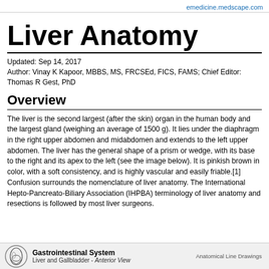emedicine.medscape.com
Liver Anatomy
Updated: Sep 14, 2017
Author: Vinay K Kapoor, MBBS, MS, FRCSEd, FICS, FAMS; Chief Editor: Thomas R Gest, PhD
Overview
The liver is the second largest (after the skin) organ in the human body and the largest gland (weighing an average of 1500 g). It lies under the diaphragm in the right upper abdomen and midabdomen and extends to the left upper abdomen. The liver has the general shape of a prism or wedge, with its base to the right and its apex to the left (see the image below). It is pinkish brown in color, with a soft consistency, and is highly vascular and easily friable.[1]  Confusion surrounds the nomenclature of liver anatomy. The International Hepto-Pancreato-Biliary Association (IHPBA) terminology of liver anatomy and resections is followed by most liver surgeons.
Gastrointestinal System
Liver and Gallbladder - Anterior View
Anatomical Line Drawings